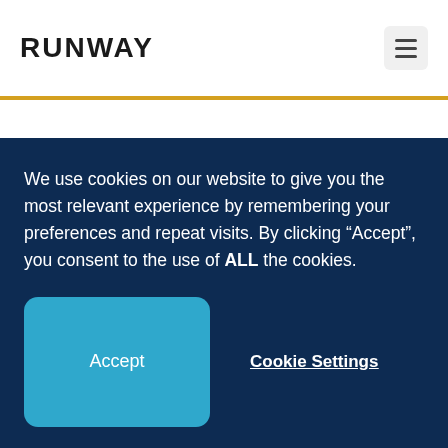RUNWAY
Runway's Track Record
We use cookies on our website to give you the most relevant experience by remembering your preferences and repeat visits. By clicking “Accept”, you consent to the use of ALL the cookies.
Accept
Cookie Settings